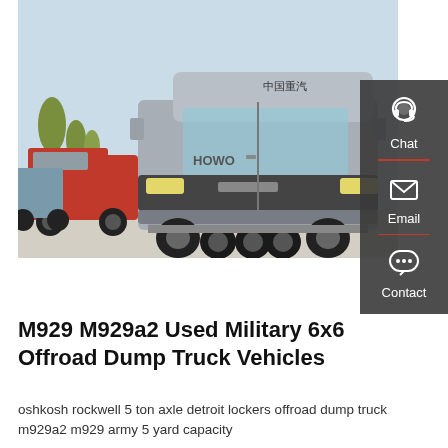GET A QUOTE
[Figure (photo): Photo of a silver Sinotruk HOWO semi-truck cab (6x4) in the foreground, with a red truck cab visible behind it to the left, parked in an outdoor yard with trees in the background.]
[Figure (infographic): Sidebar panel with three items: Chat (headset icon), Email (envelope icon), Contact (speech bubble icon), with red divider lines between items.]
M929 M929a2 Used Military 6x6 Offroad Dump Truck Vehicles
oshkosh rockwell 5 ton axle detroit lockers offroad dump truck m929a2 m929 army 5 yard capacity